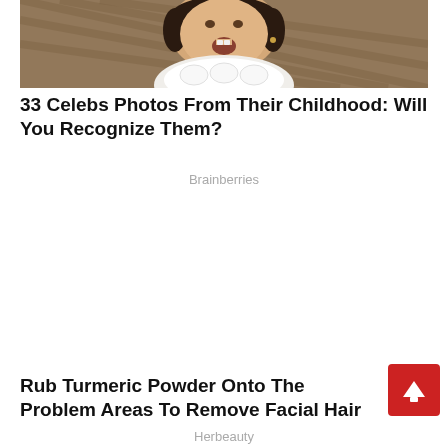[Figure (photo): Childhood photo of a toddler/child with dark hair, wearing a white lace outfit, mouth open, sitting in front of what appears to be a wicker background.]
33 Celebs Photos From Their Childhood: Will You Recognize Them?
Brainberries
[Figure (other): Advertisement block (blank/white space)]
Rub Turmeric Powder Onto The Problem Areas To Remove Facial Hair
Herbeauty